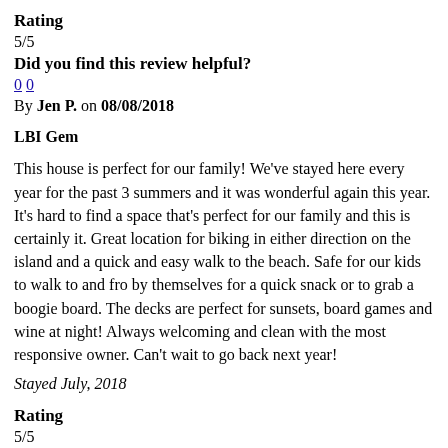Rating
5/5
Did you find this review helpful?
0 0
By Jen P. on 08/08/2018
LBI Gem
This house is perfect for our family! We've stayed here every year for the past 3 summers and it was wonderful again this year. It's hard to find a space that's perfect for our family and this is certainly it. Great location for biking in either direction on the island and a quick and easy walk to the beach. Safe for our kids to walk to and fro by themselves for a quick snack or to grab a boogie board. The decks are perfect for sunsets, board games and wine at night! Always welcoming and clean with the most responsive owner. Can't wait to go back next year!
Stayed July, 2018
Rating
5/5
Did you find this review helpful?
0 0
By sheryl S. on 07/11/2018